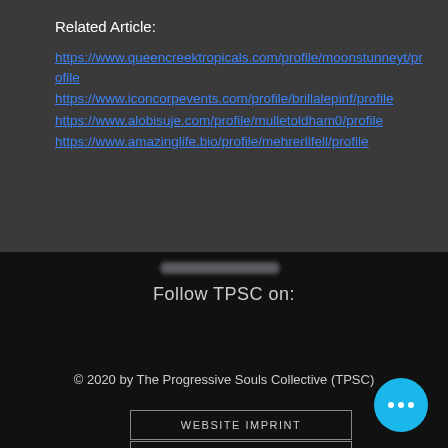Related Article:
https://www.queencreektropicals.com/profile/moonstunneyt/profile
https://www.iconcorpevents.com/profile/brillalepinf/profile
https://www.alobisuje.com/profile/mulletoldham0/profile
https://www.amazinglife.bio/profile/mehrerlifell/profile
Follow TPSC on:
© 2020 by The Progressive Souls Collective (TPSC)
WEBSITE IMPRINT
DATA PROTECTION